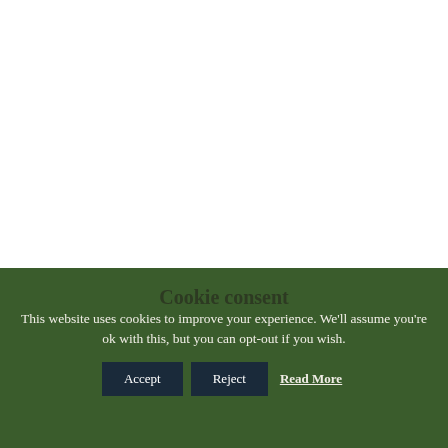Cookie consent
This website uses cookies to improve your experience. We'll assume you're ok with this, but you can opt-out if you wish.
Accept   Reject   Read More